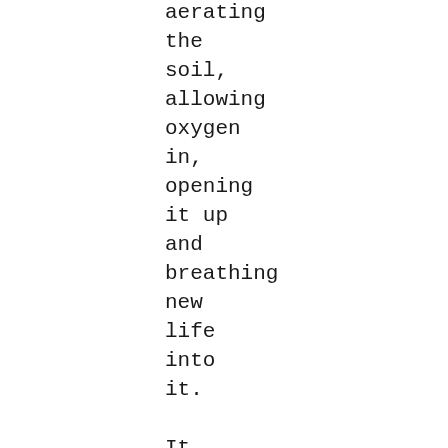of
aerating
the
soil,
allowing
oxygen
in,
opening
it up
and
breathing
new
life
into
it.

It
might
seem a
bit odd
to
enlist
an
organic